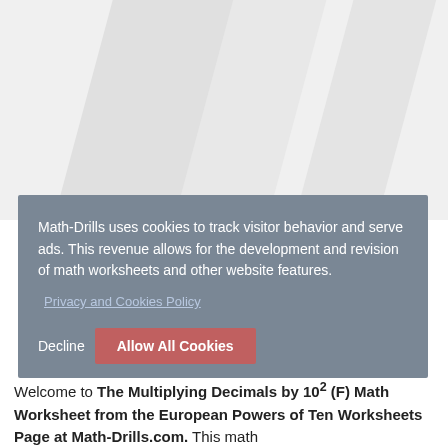[Figure (other): Decorative background with diagonal light grey stripe shapes on a light grey background]
Math-Drills uses cookies to track visitor behavior and serve ads. This revenue allows for the development and revision of math worksheets and other website features.
Privacy and Cookies Policy
Decline    Allow All Cookies
Welcome to The Multiplying Decimals by 10^2 (F) Math Worksheet from the European Powers of Ten Worksheets Page at Math-Drills.com. This math